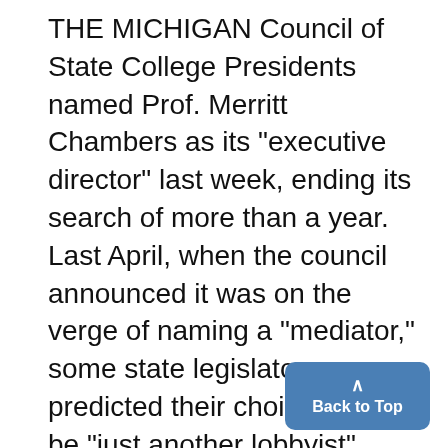THE MICHIGAN Council of State College Presidents named Prof. Merritt Chambers as its "executive director" last week, ending its search of more than a year. Last April, when the council announced it was on the verge of naming a "mediator," some state legislators predicted their choice would be "just another lobbyist". The competition among the various state supported school